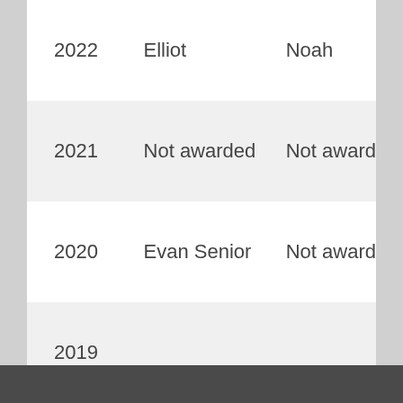| Year | Elliot | Noah |
| --- | --- | --- |
| 2022 | Elliot | Noah |
| 2021 | Not awarded | Not awarded |
| 2020 | Evan Senior | Not awarded |
| 2019 |  |  |